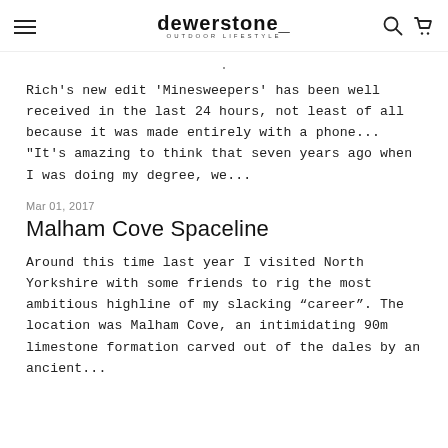dewerstone. OUTDOOR LIFESTYLE
Rich's new edit 'Minesweepers' has been well received in the last 24 hours, not least of all because it was made entirely with a phone... "It's amazing to think that seven years ago when I was doing my degree, we...
Mar 01, 2017
Malham Cove Spaceline
Around this time last year I visited North Yorkshire with some friends to rig the most ambitious highline of my slacking “career”. The location was Malham Cove, an intimidating 90m limestone formation carved out of the dales by an ancient...